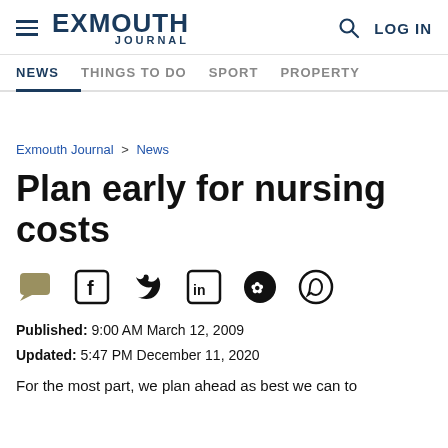EXMOUTH JOURNAL — NEWS | THINGS TO DO | SPORT | PROPERTY
Exmouth Journal > News
Plan early for nursing costs
Published: 9:00 AM March 12, 2009
Updated: 5:47 PM December 11, 2020